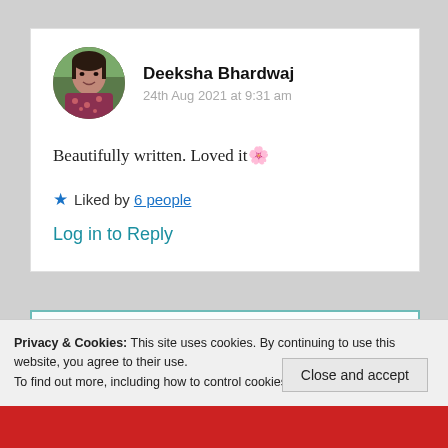[Figure (photo): Circular avatar photo of Deeksha Bhardwaj, a woman wearing a patterned scarf, outdoor background]
Deeksha Bhardwaj
24th Aug 2021 at 9:31 am
Beautifully written. Loved it 🌸
★ Liked by 6 people
Log in to Reply
Privacy & Cookies: This site uses cookies. By continuing to use this website, you agree to their use.
To find out more, including how to control cookies, see here: Cookie Policy
Close and accept